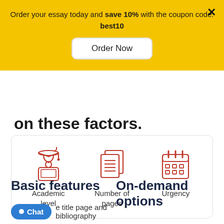Order your essay today and save 10% with the coupon code: best10
Order Now
on these factors.
[Figure (illustration): Three red line icons: graduate student with laptop (Academic level), stacked documents (Number of pages), and calendar (Urgency)]
Academic level
Number of pages
Urgency
Basic features
On-demand options
e title page and bibliography